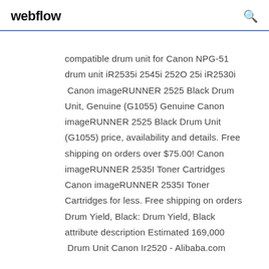webflow
compatible drum unit for Canon NPG-51 drum unit iR2535i 2545i 252O 25i iR2530i  Canon imageRUNNER 2525 Black Drum Unit, Genuine (G1055) Genuine Canon imageRUNNER 2525 Black Drum Unit (G1055) price, availability and details. Free shipping on orders over $75.00! Canon imageRUNNER 2535I Toner Cartridges Canon imageRUNNER 2535I Toner Cartridges for less. Free shipping on orders Drum Yield, Black: Drum Yield, Black attribute description Estimated 169,000  Drum Unit Canon Ir2520 - Alibaba.com